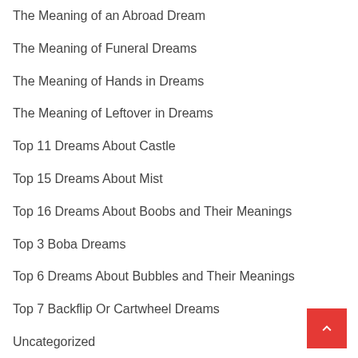The Meaning of an Abroad Dream
The Meaning of Funeral Dreams
The Meaning of Hands in Dreams
The Meaning of Leftover in Dreams
Top 11 Dreams About Castle
Top 15 Dreams About Mist
Top 16 Dreams About Boobs and Their Meanings
Top 3 Boba Dreams
Top 6 Dreams About Bubbles and Their Meanings
Top 7 Backflip Or Cartwheel Dreams
Uncategorized